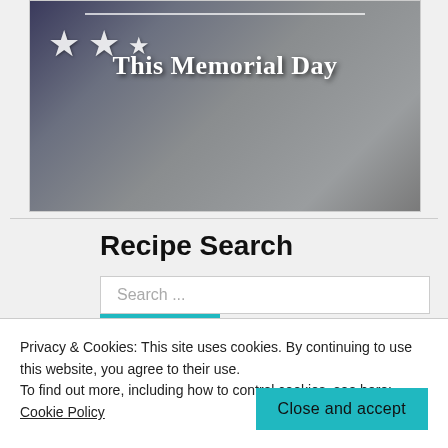[Figure (photo): Memorial Day banner with American flag stars on left, white line at top, and text 'This Memorial Day' in white on gray/blue background]
Recipe Search
Search ...
Search
Privacy & Cookies: This site uses cookies. By continuing to use this website, you agree to their use.
To find out more, including how to control cookies, see here:
Cookie Policy
Close and accept